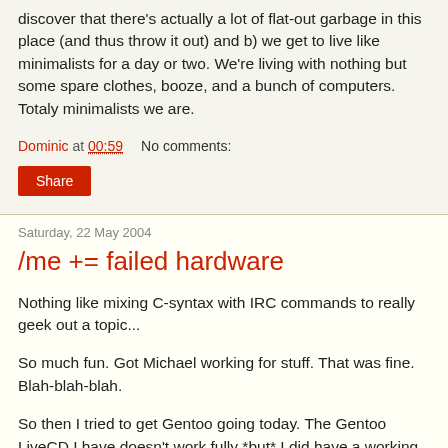discover that there's actually a lot of flat-out garbage in this place (and thus throw it out) and b) we get to live like minimalists for a day or two. We're living with nothing but some spare clothes, booze, and a bunch of computers. Totaly minimalists we are.
Dominic at 00:59    No comments:
Share
Saturday, 22 May 2004
/me += failed hardware
Nothing like mixing C-syntax with IRC commands to really geek out a topic...
So much fun. Got Michael working for stuff. That was fine. Blah-blah-blah.
So then I tried to get Gentoo going today. The Gentoo LiveCD I have doesn't work fully *but* I did have a working